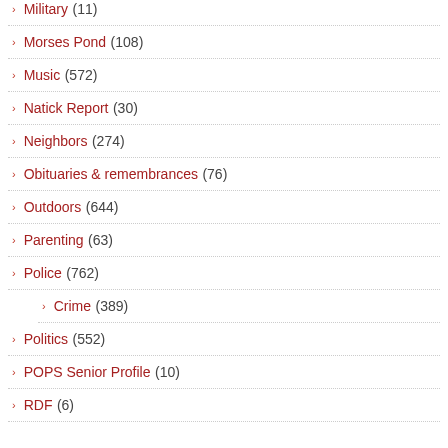Military (11)
Morses Pond (108)
Music (572)
Natick Report (30)
Neighbors (274)
Obituaries & remembrances (76)
Outdoors (644)
Parenting (63)
Police (762)
Crime (389)
Politics (552)
POPS Senior Profile (10)
RDF (6)